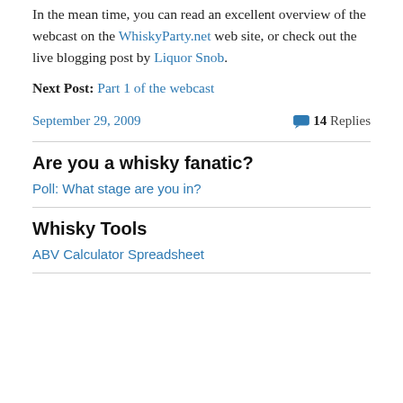In the mean time, you can read an excellent overview of the webcast on the WhiskyParty.net web site, or check out the live blogging post by Liquor Snob.
Next Post: Part 1 of the webcast
September 29, 2009
💬 14 Replies
Are you a whisky fanatic?
Poll: What stage are you in?
Whisky Tools
ABV Calculator Spreadsheet